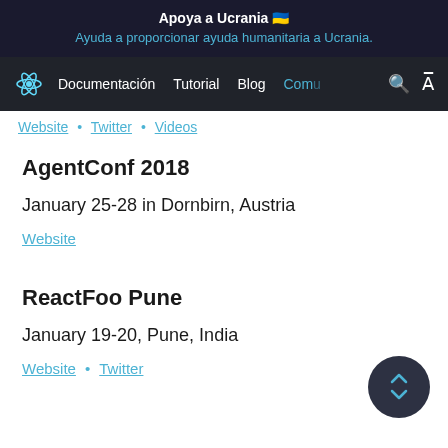Apoya a Ucrania 🇺🇦
Ayuda a proporcionar ayuda humanitaria a Ucrania.
Documentación  Tutorial  Blog  Comu
Website • Twitter • Videos
AgentConf 2018
January 25-28 in Dornbirn, Austria
Website
ReactFoo Pune
January 19-20, Pune, India
Website • Twitter